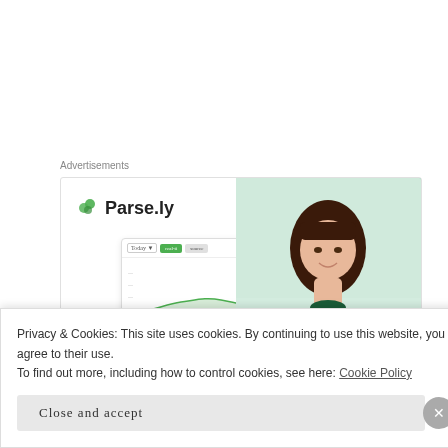Advertisements
[Figure (screenshot): Parse.ly advertisement showing logo, dashboard chart mockup, woman in green sweater, and large 'Content' text]
Privacy & Cookies: This site uses cookies. By continuing to use this website, you agree to their use.
To find out more, including how to control cookies, see here: Cookie Policy
Close and accept